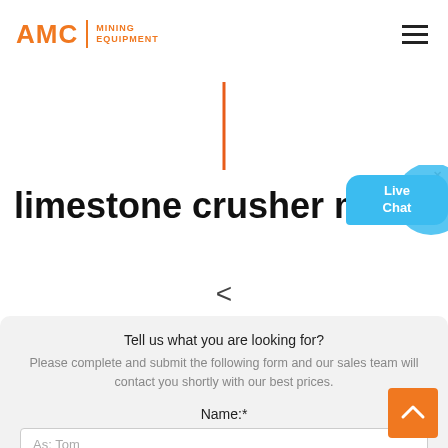AMC MINING EQUIPMENT
[Figure (other): Orange vertical decorative bar]
limestone crusher modifi
[Figure (other): Live Chat speech bubble widget with close button]
<
Tell us what you are looking for?
Please complete and submit the following form and our sales team will contact you shortly with our best prices.
Name:*
As: Tom